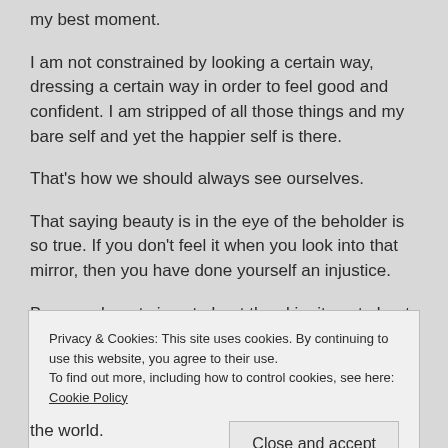my best moment.
I am not constrained by looking a certain way, dressing a certain way in order to feel good and confident. I am stripped of all those things and my bare self and yet the happier self is there.
That’s how we should always see ourselves.
That saying beauty is in the eye of the beholder is so true. If you don’t feel it when you look into that mirror, then you have done yourself an injustice.
Because beauty is not about the skin, its not about how others
Privacy & Cookies: This site uses cookies. By continuing to use this website, you agree to their use.
To find out more, including how to control cookies, see here: Cookie Policy
the world.